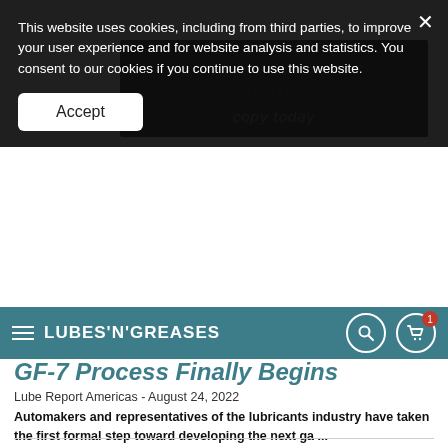This website uses cookies, including from third parties, to improve your user experience and for website analysis and statistics. You consent to our cookies if you continue to use this website.
Accept
LUBES'N'GREASES
GF-7 Process Finally Begins
Lube Report Americas - August 24, 2022
Automakers and representatives of the lubricants industry have taken the first formal step toward developing the next ga ...